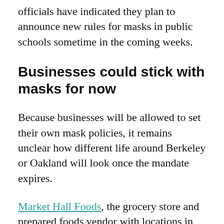officials have indicated they plan to announce new rules for masks in public schools sometime in the coming weeks.
Businesses could stick with masks for now
Because businesses will be allowed to set their own mask policies, it remains unclear how different life around Berkeley or Oakland will look once the mandate expires.
Market Hall Foods, the grocery store and prepared foods vendor with locations in Berkeley and Oakland, will require all patrons and workers to remain masked for the